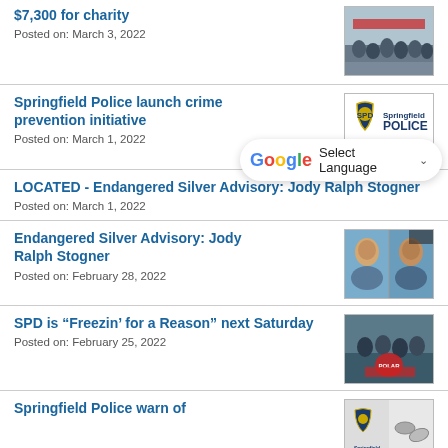$7,300 for charity
Posted on: March 3, 2022
[Figure (photo): Group photo in snow, charity event]
Springfield Police launch crime prevention initiative
Posted on: March 1, 2022
[Figure (logo): Springfield Police logo]
[Figure (other): Google Translate Select Language widget]
LOCATED - Endangered Silver Advisory: Jody Ralph Stogner
Posted on: March 1, 2022
Endangered Silver Advisory: Jody Ralph Stogner
Posted on: February 28, 2022
[Figure (photo): Two mugshot photos of Jody Ralph Stogner]
SPD is “Freezin’ for a Reason” next Saturday
Posted on: February 25, 2022
[Figure (photo): Freezin for a Reason event photo]
Springfield Police warn of